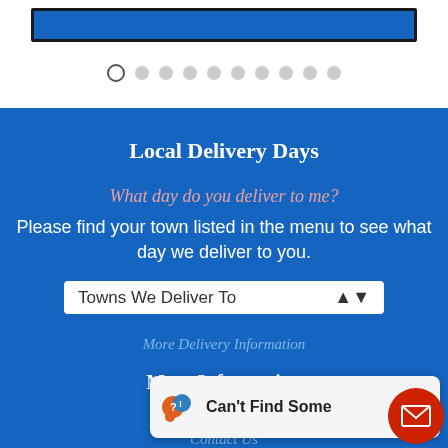[Figure (screenshot): Top white section showing a blue banner/slider bar with a row of pagination dots below it, first dot is active (outlined circle), rest are filled grey dots.]
Local Delivery Days
What day do you deliver to me?
Please find your town listed in the menu to see what day we deliver to you.
[Figure (screenshot): White dropdown selector labeled 'Towns We Deliver To' with a sort/select arrow on the right side.]
More Delivery Information
More Information
About
Contact Us
[Figure (screenshot): Chat widget overlay showing speech bubble icon with 'Can't Find Some...' text and a red circular email/envelope button in the bottom right corner.]